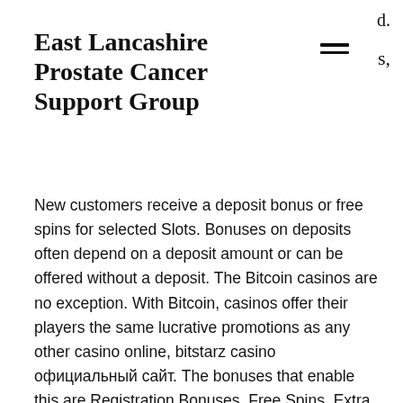East Lancashire Prostate Cancer Support Group
New customers receive a deposit bonus or free spins for selected Slots. Bonuses on deposits often depend on a deposit amount or can be offered without a deposit. The Bitcoin casinos are no exception. With Bitcoin, casinos offer their players the same lucrative promotions as any other casino online, bitstarz casino официальный сайт. The bonuses that enable this are Registration Bonuses, Free Spins, Extra Spins and Free Bonuses, bitstarz casino официальный сайт. PayPal offers extremely secure and fast online payments, bitstarz bono sin depósito 20 darmowe spiny. Bitstarz